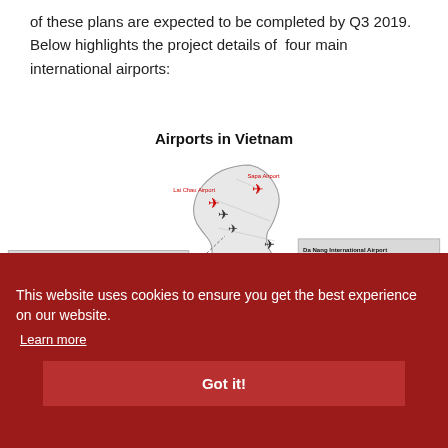of these plans are expected to be completed by Q3 2019.  Below highlights the project details of  four main international airports:
[Figure (map): Map titled 'Airports in Vietnam' showing Vietnam's outline with labeled airports: Sapa Airport, Lai Chau Airport, Noi Bai International Airport, Da Nang International Airport. Each location marked with airplane icons. Info boxes describe costs, plans, expected timelines, and capacities.]
This website uses cookies to ensure you get the best experience on our website. Learn more
Got it!